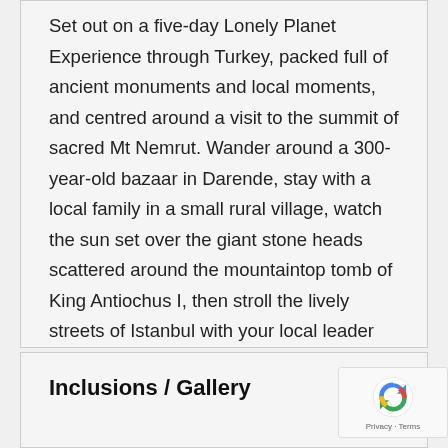Set out on a five-day Lonely Planet Experience through Turkey, packed full of ancient monuments and local moments, and centred around a visit to the summit of sacred Mt Nemrut. Wander around a 300-year-old bazaar in Darende, stay with a local family in a small rural village, watch the sun set over the giant stone heads scattered around the mountaintop tomb of King Antiochus I, then stroll the lively streets of Istanbul with your local leader and let them show you where to get the best islak burger in town. This trip is designed so that even if you're short on time, you can explore the backroads of Turkey and uncover all the good stuff.
Inclusions / Gallery